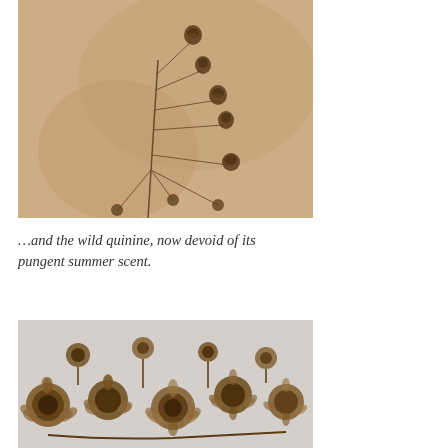[Figure (photo): Close-up photograph of dried wild quinine seed heads on thin branching stems against a warm beige/tan background. The delicate dried flower clusters are dark brown against the soft tan backdrop.]
…and the wild quinine, now devoid of its pungent summer scent.
[Figure (photo): Close-up photograph of dried wild quinine seed heads showing detailed texture of multiple dark brown rosette-shaped dried flower heads clustered together against a light grey background.]